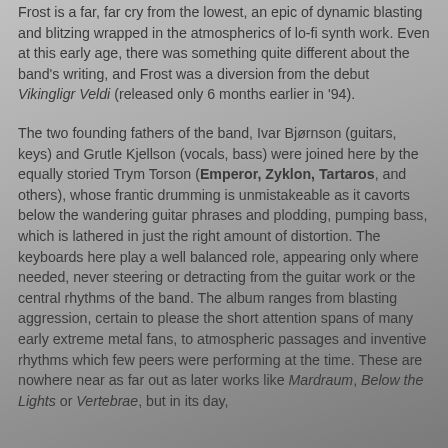Frost is a far, far cry from the lowest, an epic of dynamic blasting and blitzing wrapped in the atmospherics of lo-fi synth work. Even at this early age, there was something quite different about the band's writing, and Frost was a diversion from the debut Vikingligr Veldi (released only 6 months earlier in '94).
The two founding fathers of the band, Ivar Bjørnson (guitars, keys) and Grutle Kjellson (vocals, bass) were joined here by the equally storied Trym Torson (Emperor, Zyklon, Tartaros, and others), whose frantic drumming is unmistakeable as it cavorts below the wandering guitar phrases and plodding, pumping bass, which is lathered in just the right amount of distortion. The keyboards here play a well balanced role, appearing only where needed, never steering or detracting from the guitar work or the central rhythms of the band. The album ranges from blasting aggression, certain to please the short attention spans of many early extreme metal fans, to atmospheric passages and inventive rhythms which few peers were performing at the time. These are nowhere near as far out as later works like Mardraum, Below the Lights or Vertebrae, but in its day,